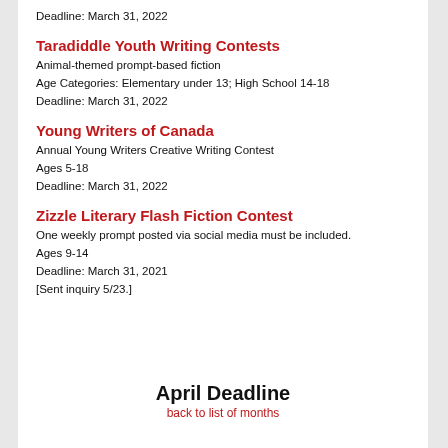Deadline: March 31, 2022
Taradiddle Youth Writing Contests
Animal-themed prompt-based fiction
Age Categories: Elementary under 13; High School 14-18
Deadline: March 31, 2022
Young Writers of Canada
Annual Young Writers Creative Writing Contest
Ages 5-18
Deadline: March 31, 2022
Zizzle Literary Flash Fiction Contest
One weekly prompt posted via social media must be included.
Ages 9-14
Deadline: March 31, 2021
[Sent inquiry 5/23.]
April Deadline
back to list of months